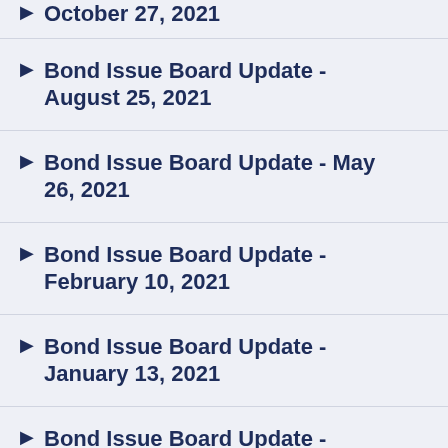Bond Issue Board Update - October 27, 2021
Bond Issue Board Update - August 25, 2021
Bond Issue Board Update - May 26, 2021
Bond Issue Board Update - February 10, 2021
Bond Issue Board Update - January 13, 2021
Bond Issue Board Update -